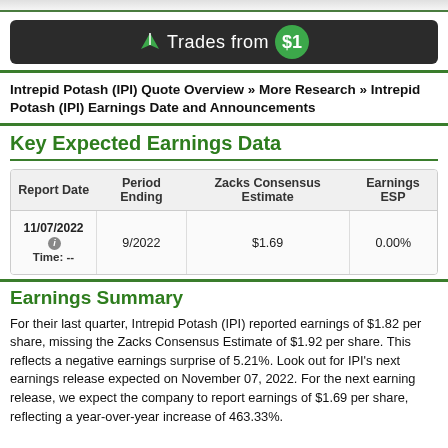[Figure (other): Advertisement banner: arrow logo, 'Trades from $1' text with green circle]
Intrepid Potash (IPI) Quote Overview » More Research » Intrepid Potash (IPI) Earnings Date and Announcements
Key Expected Earnings Data
| Report Date | Period Ending | Zacks Consensus Estimate | Earnings ESP |
| --- | --- | --- | --- |
| 11/07/2022
Time: -- | 9/2022 | $1.69 | 0.00% |
Earnings Summary
For their last quarter, Intrepid Potash (IPI) reported earnings of $1.82 per share, missing the Zacks Consensus Estimate of $1.92 per share. This reflects a negative earnings surprise of 5.21%. Look out for IPI's next earnings release expected on November 07, 2022. For the next earning release, we expect the company to report earnings of $1.69 per share, reflecting a year-over-year increase of 463.33%.